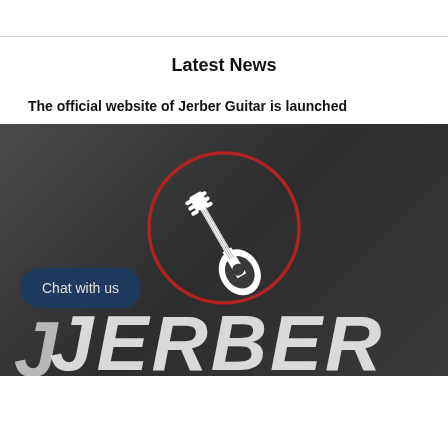Latest News
The official website of Jerber Guitar is launched
[Figure (screenshot): Dark background promotional image for Jerber Guitar featuring a red circle with white electric guitar icon/logo in the center, a 'Chat with us' button in bottom left, and large stylized white 'JERBER' text at the bottom.]